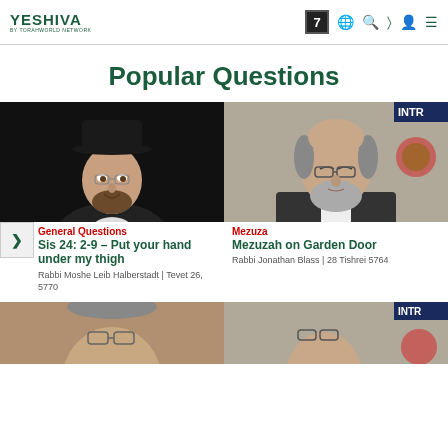YESHIVA — navigation header with logo and icons
Popular Questions
[Figure (photo): Rabbi with black hat and beard smiling against dark background]
General Questions
Sis 24: 2-9 – Put your hand under my thigh
Rabbi Moshe Leib Halberstadt | Tevet 26, 5770
[Figure (photo): Rabbi with grey beard and glasses looking down]
Mezuza
Mezuzah on Garden Door
Rabbi Jonathan Blass | 28 Tishrei 5764
[Figure (photo): Partially visible photo of rabbi at bottom left]
[Figure (photo): Partially visible photo of rabbi at bottom right]